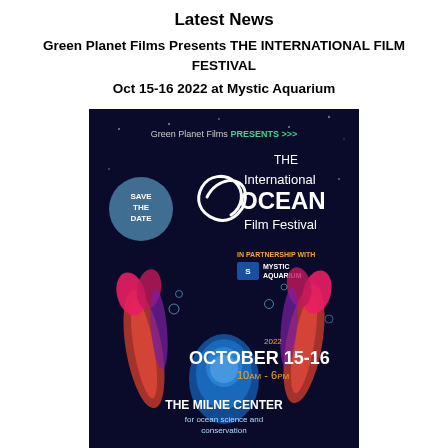Latest News
Green Planet Films Presents THE INTERNATIONAL FILM FESTIVAL
Oct 15-16 2022 at Mystic Aquarium
[Figure (illustration): Event poster for the International Ocean Film Festival presented by Green Planet Films in partnership with Mystic Aquarium. Dark navy background with stylized sea creatures (red/pink tubeworms or similar organisms) and a glowing blue jellyfish. Text reads: Green Planet Films PRESENTS >>>, THE International OCEAN Film Festival, SAVE THE DATE (in a blue circle), IN PARTNERSHIP WITH MYSTIC AQUARIUM (with logo), 2022 OCTOBER 15-16 10AM-6PM, THE MILNE CENTER for ocean science and conservation, VISIT MYSTIC AQUARIUM.]